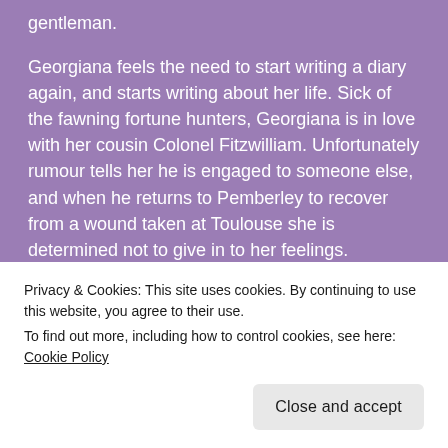gentleman.

Georgiana feels the need to start writing a diary again, and starts writing about her life. Sick of the fawning fortune hunters, Georgiana is in love with her cousin Colonel Fitzwilliam. Unfortunately rumour tells her he is engaged to someone else, and when he returns to Pemberley to recover from a wound taken at Toulouse she is determined not to give in to her feelings.
[Figure (other): Book cover image showing the text 'in the back.' in bold dark serif font on a gradient orange-to-pink background]
Privacy & Cookies: This site uses cookies. By continuing to use this website, you agree to their use.
To find out more, including how to control cookies, see here: Cookie Policy
Close and accept